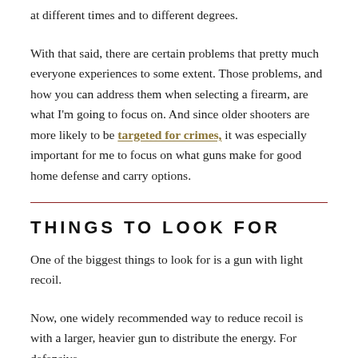at different times and to different degrees.
With that said, there are certain problems that pretty much everyone experiences to some extent. Those problems, and how you can address them when selecting a firearm, are what I'm going to focus on. And since older shooters are more likely to be targeted for crimes, it was especially important for me to focus on what guns make for good home defense and carry options.
THINGS TO LOOK FOR
One of the biggest things to look for is a gun with light recoil.
Now, one widely recommended way to reduce recoil is with a larger, heavier gun to distribute the energy. For defensive